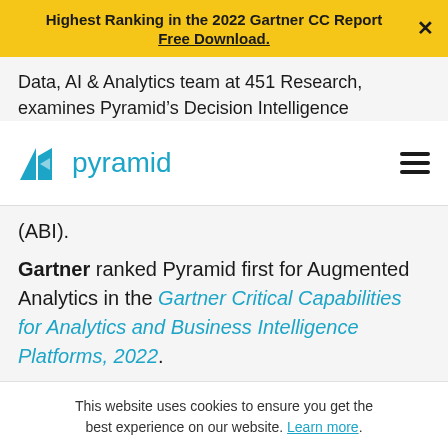Highest Ranking in the 2022 Gartner CC Report Free Download.
[Figure (logo): Pyramid Analytics logo with teal triangular icon and word 'pyramid' in teal]
Data, AI & Analytics team at 451 Research, examines Pyramid's Decision Intelligence
(ABI).
Gartner ranked Pyramid first for Augmented Analytics in the Gartner Critical Capabilities for Analytics and Business Intelligence Platforms, 2022.
This website uses cookies to ensure you get the best experience on our website. Learn more.
Got it! / Decline